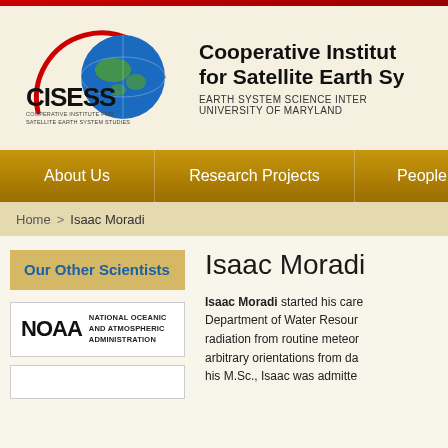[Figure (logo): CISESS logo with globe and red arc, text: COOPERATIVE INSTITUTE FOR SATELLITE EARTH SYSTEM STUDIES]
Cooperative Institute for Satellite Earth System Studies
EARTH SYSTEM SCIENCE INTERDISCIPLINARY CENTER
UNIVERSITY OF MARYLAND
About Us | Research Projects | People
Home > Isaac Moradi
Our Other Scientists
[Figure (logo): NOAA - National Oceanic and Atmospheric Administration logo]
Isaac Moradi
Isaac Moradi started his career in the Department of Water Resources... radiation from routine meteorological... arbitrary orientations from da... his M.Sc., Isaac was admitte...